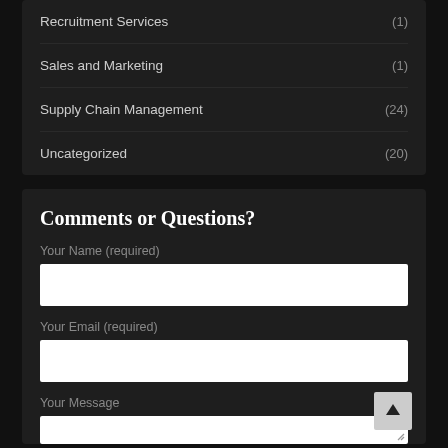Recruitment Services (1)
Sales and Marketing (1)
Supply Chain Management (24)
Uncategorized (20)
Comments or Questions?
Your Name (required)
Your Email (required)
Your Message